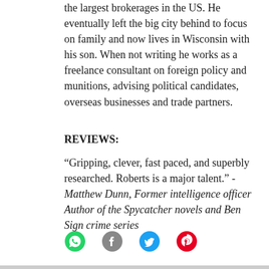the largest brokerages in the US. He eventually left the big city behind to focus on family and now lives in Wisconsin with his son. When not writing he works as a freelance consultant on foreign policy and munitions, advising political candidates, overseas businesses and trade partners.
REVIEWS:
“Gripping, clever, fast paced, and superbly researched. Roberts is a major talent.” -Matthew Dunn, Former intelligence officer Author of the Spycatcher novels and Ben Sign crime series
[Figure (other): Social sharing icons: WhatsApp (green), Facebook (grey), Twitter (blue), Pinterest (red/pink)]